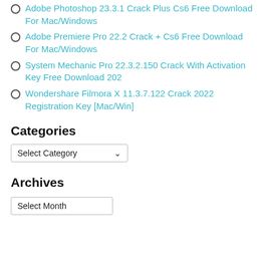Adobe Photoshop 23.3.1 Crack Plus Cs6 Free Download For Mac/Windows
Adobe Premiere Pro 22.2 Crack + Cs6 Free Download For Mac/Windows
System Mechanic Pro 22.3.2.150 Crack With Activation Key Free Download 202
Wondershare Filmora X 11.3.7.122 Crack 2022 Registration Key [Mac/Win]
Categories
Select Category
Archives
Select Month